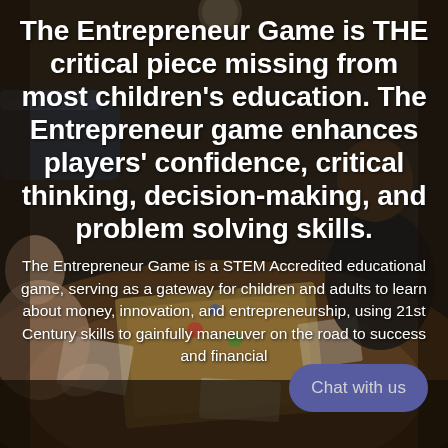[Figure (photo): People sitting around a table playing a board game, photographed from above at an angle, dimly lit indoor setting]
The Entrepreneur Game is THE critical piece missing from most children's education. The Entrepreneur game enhances players' confidence, critical thinking, decision-making, and problem solving skills.
The Entrepreneur Game is a STEM Accredited educational game, serving as a gateway for children and adults to learn about money, innovation, and entrepreneurship, using 21st Century skills to gainfully maneuver on the road to success and financial
Chat with us